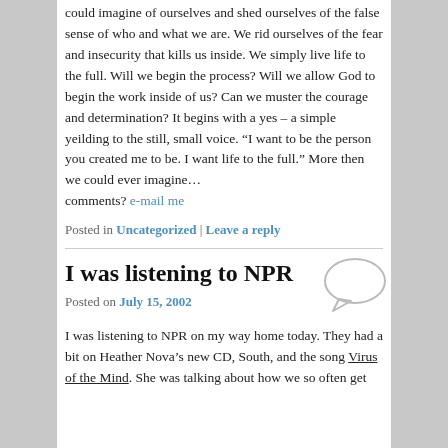could imagine of ourselves and shed ourselves of the false sense of who and what we are. We rid ourselves of the fear and insecurity that kills us inside. We simply live life to the full. Will we begin the process? Will we allow God to begin the work inside of us? Can we muster the courage and determination? It begins with a yes – a simple yeilding to the still, small voice. “I want to be the person you created me to be. I want life to the full.” More then we could ever imagine…
comments? e-mail me
Posted in Uncategorized | Leave a reply
I was listening to NPR
Posted on July 15, 2002
I was listening to NPR on my way home today. They had a bit on Heather Nova’s new CD, South, and the song Virus of the Mind. She was talking about how we so often get